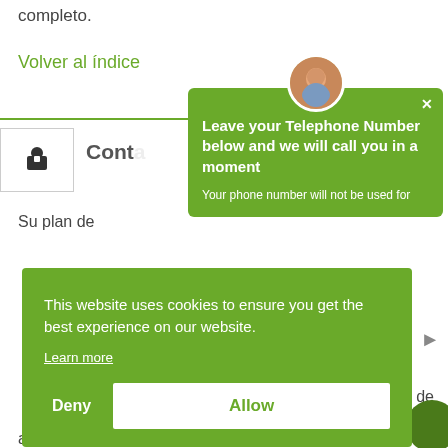completo.
Volver al índice
Conte
Su plan de
[Figure (screenshot): Telephone callback popup with avatar, green background, title 'Leave your Telephone Number below and we will call you in a moment', subtitle 'Your phone number will not be used for']
[Figure (screenshot): Cookie consent banner with green background, text 'This website uses cookies to ensure you get the best experience on our website.', Learn more link, Deny and Allow buttons]
al que sirve.